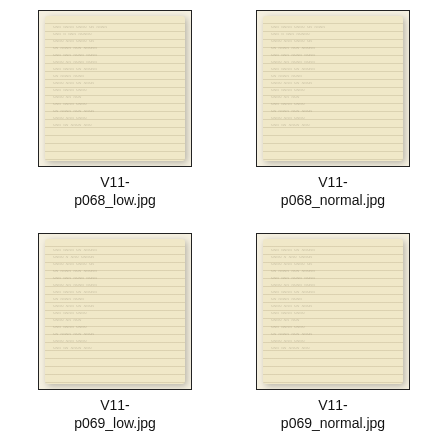[Figure (photo): Thumbnail of aged handwritten manuscript page, low quality scan]
V11-
p068_low.jpg
[Figure (photo): Thumbnail of aged handwritten manuscript page, normal quality scan]
V11-
p068_normal.jpg
[Figure (photo): Thumbnail of aged handwritten manuscript page, low quality scan]
V11-
p069_low.jpg
[Figure (photo): Thumbnail of aged handwritten manuscript page, normal quality scan]
V11-
p069_normal.jpg